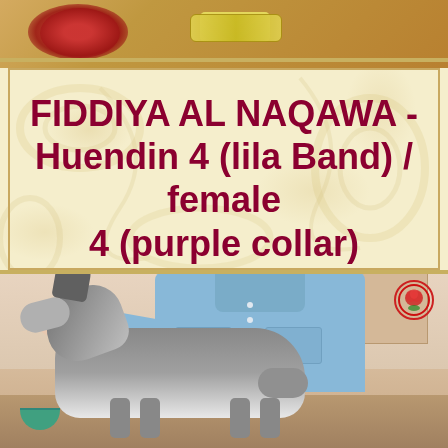[Figure (photo): Partial top photo showing decorative items including what appears to be a red/dark rose and a yellow measuring tape or collar on a golden/tan background]
FIDDIYA AL NAQAWA - Huendin 4 (lila Band) / female 4 (purple collar)
[Figure (photo): Photo of a Husky dog standing in a kitchen setting, being hand-fed by a person wearing a blue denim shirt. The dog is grey and white. A kennel logo (red rose) is visible in the upper right of the photo.]